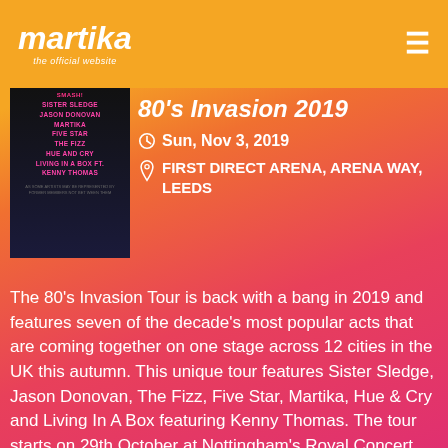martika – the official website
[Figure (photo): Event poster for 80's Invasion 2019 showing artist names including Sister Sledge, Jason Donovan, Martika, Five Star, The Fizz, Hue and Cry, Living In A Box etc. on dark background with pink text]
80's Invasion 2019
Sun, Nov 3, 2019
FIRST DIRECT ARENA, ARENA WAY, LEEDS
The 80's Invasion Tour is back with a bang in 2019 and features seven of the decade's most popular acts that are coming together on one stage across 12 cities in the UK this autumn. This unique tour features Sister Sledge, Jason Donovan, The Fizz, Five Star, Martika, Hue & Cry and Living In A Box featuring Kenny Thomas. The tour starts on 29th October at Nottingham's Royal Concert Hall and culminates on 11th November at